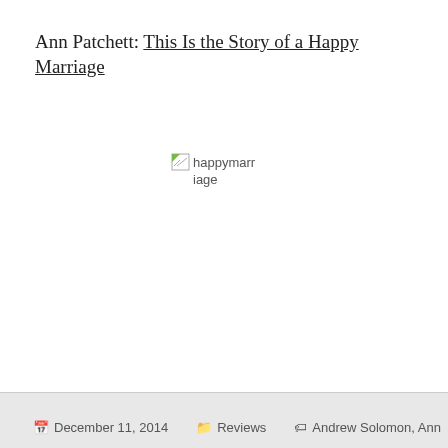Ann Patchett: This Is the Story of a Happy Marriage
[Figure (other): Broken image placeholder for happymarriage book cover image]
December 11, 2014  Reviews  Andrew Solomon, Ann